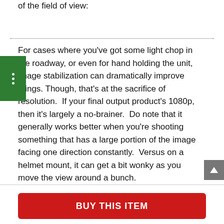of the field of view:
For cases where you've got some light chop in the roadway, or even for hand holding the unit, image stabilization can dramatically improve things. Though, that's at the sacrifice of resolution. If your final output product's 1080p, then it's largely a no-brainer. Do note that it generally works better when you're shooting something that has a large portion of the image facing one direction constantly. Versus on a helmet mount, it can get a bit wonky as you move the view around a bunch.
BUY THIS ITEM